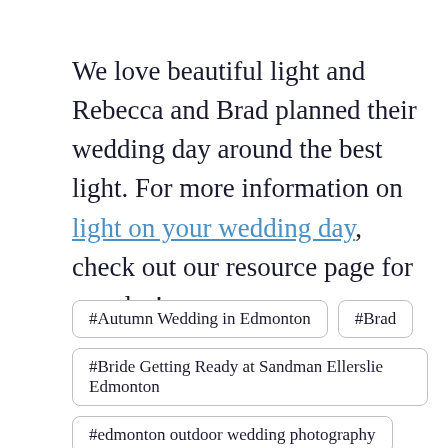We love beautiful light and Rebecca and Brad planned their wedding day around the best light. For more information on light on your wedding day, check out our resource page for couples!
#Autumn Wedding in Edmonton
#Brad
#Bride Getting Ready at Sandman Ellerslie Edmonton
#edmonton outdoor wedding photography
#edmonton outdoor wedding photos